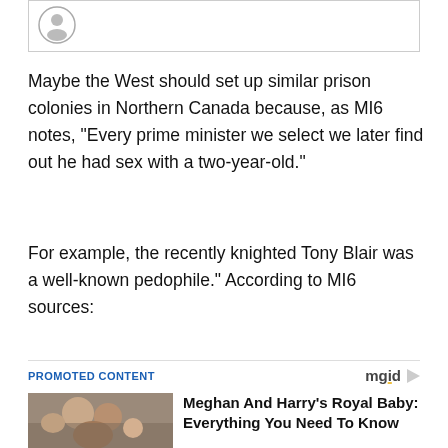[Figure (other): Top bordered box with a small circular logo/icon in the upper left corner]
Maybe the West should set up similar prison colonies in Northern Canada because, as MI6 notes, “Every prime minister we select we later find out he had sex with a two-year-old.”
For example, the recently knighted Tony Blair was a well-known pedophile.” According to MI6 sources:
PROMOTED CONTENT
[Figure (photo): Photo of Meghan and Harry with a baby]
Meghan And Harry’s Royal Baby: Everything You Need To Know